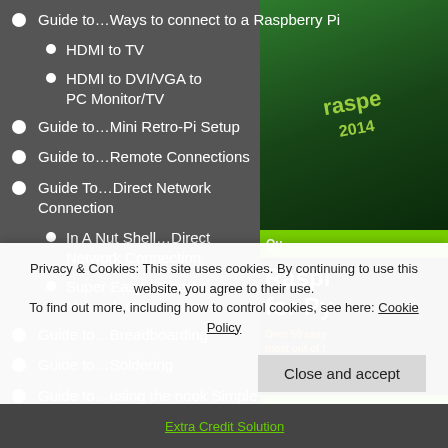Guide to…Ways to connect to a Raspberry Pi
HDMI to TV
HDMI to DVI/VGA to PC Monitor/TV
Guide to…Mini Retro-Pi Setup
Guide to…Remote Connections
Guide To…Direct Network Connection
In A Nut Shell…Direct Network Connection
Super Easy…Direct Network Connection
Guide to…Breadboarding
Guide to…Soldering
Guide to…using the nook Simple Touch as a remote eink Raspberry Pi screen
[Figure (photo): Book cover: Raspberry Pi for Python, green circuit board background with Raspberry Pi logo and title text]
Privacy & Cookies: This site uses cookies. By continuing to use this website, you agree to their use.
To find out more, including how to control cookies, see here: Cookie Policy
Close and accept
Extra Credit Solution